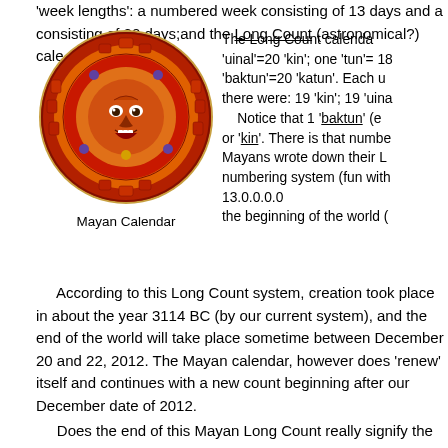'week lengths': a numbered week consisting of 13 days and a consisting of 20 days;and the Long Count (astronomical?) cale
[Figure (illustration): Mayan Calendar stone carving — a circular red stone disk with an ornate face in the center, surrounded by calendrical symbols and glyphs]
Mayan Calendar
The Long Count calenda 'uinal'=20 'kin'; one 'tun'= 18 'baktun'=20 'katun'. Each u there were: 19 'kin'; 19 'uina Notice that 1 'baktun' (e or 'kin'. There is that numbe Mayans wrote down their L numbering system (fun with 13.0.0.0.0 the beginning of the world (
According to this Long Count system, creation took place in about the year 3114 BC (by our current system), and the end of the world will take place sometime between December 20 and 22, 2012. The Mayan calendar, however does 'renew' itself and continues with a new count beginning after our December date of 2012.
Does the end of this Mayan Long Count really signify the end of the world or simply the beginning of a 'new age'?